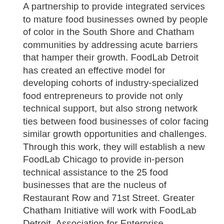A partnership to provide integrated services to mature food businesses owned by people of color in the South Shore and Chatham communities by addressing acute barriers that hamper their growth. FoodLab Detroit has created an effective model for developing cohorts of industry-specialized food entrepreneurs to provide not only technical support, but also strong network ties between food businesses of color facing similar growth opportunities and challenges. Through this work, they will establish a new FoodLab Chicago to provide in-person technical assistance to the 25 food businesses that are the nucleus of Restaurant Row and 71st Street. Greater Chatham Initiative will work with FoodLab Detroit, Association for Enterprise Opportunity and South Shore Chamber of Commerce.